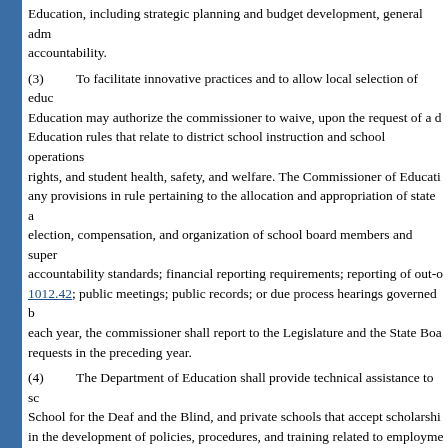Education, including strategic planning and budget development, general administration, and accountability.
(3) To facilitate innovative practices and to allow local selection of educational programs, the State Board of Education may authorize the commissioner to waive, upon the request of a district school board or the school board's designee, State Board of Education rules that relate to district school instruction and school operations, excluding any rules that pertain to civil rights, and student health, safety, and welfare. The Commissioner of Education may not waive any provisions in rule pertaining to the allocation and appropriation of state and federal funds; the election, compensation, and organization of school board members and superintendents; educational accountability standards; financial reporting requirements; reporting of out-of-field teachers pursuant to s. 1012.42; public meetings; public records; or due process hearings governed by chapter 120. In September of each year, the commissioner shall report to the Legislature and the State Board of Education all waiver requests in the preceding year.
(4) The Department of Education shall provide technical assistance to school districts, the Florida School for the Deaf and the Blind, and private schools that accept scholarship students pursuant to s. 1002.395, in the development of policies, procedures, and training related to employment screening and the code of conduct for instructional personnel and school administrators, as defined in s. 1012.01.
(5) The Department of Education shall provide authorized staff of school districts, the Florida School for the Deaf and the Blind, and private schools that accept scholarship students pursuant to s. 1002.395, with access to electronic verification of information from the following employment databases:
(a) The Professional Practices' Database of Disciplinary Actions Against Educators.
(b) The Department of Education's Teacher Certification Database.
This subsection does not require the department to provide these staff with